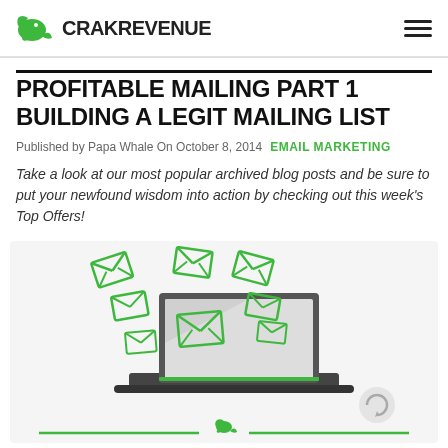CRAKREVENUE
PROFITABLE MAILING PART 1 BUILDING A LEGIT MAILING LIST
Published by Papa Whale On October 8, 2014   EMAIL MARKETING
Take a look at our most popular archived blog posts and be sure to put your newfound wisdom into action by checking out this week's Top Offers!
[Figure (illustration): Illustration of a laptop with green envelope icons flying out of the screen, and a small green whale logo at the bottom center]